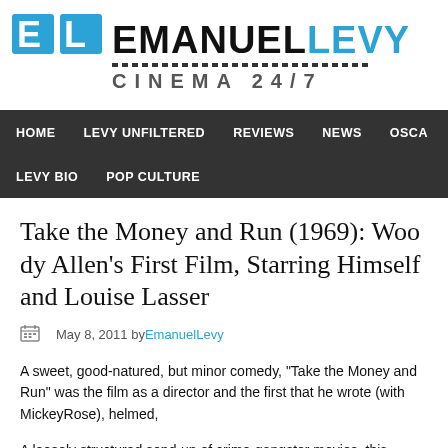[Figure (logo): EmanuelLevy Cinema 24/7 logo with blue EL icon and site name]
HOME  LEVY UNFILTERED  REVIEWS  NEWS  OSCA  LEVY BIO  POP CULTURE
Take the Money and Run (1969): Woody Allen's First Film, Starring Himself and Louise Lasser
May 8, 2011 by EmanuelLevy
A sweet, good-natured, but minor comedy, “Take the Money and Run” w... film as a director and the first that he wrote (with MickeyRose), helmed,
A loosely structured send-up of crime-gangster movies, this modest ente... lines and witty sight gags, pointing to greater, more ambitious movies th... future.